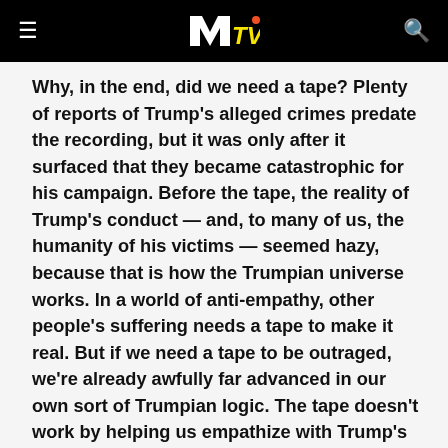MTV
Why, in the end, did we need a tape? Plenty of reports of Trump's alleged crimes predate the recording, but it was only after it surfaced that they became catastrophic for his campaign. Before the tape, the reality of Trump's conduct — and, to many of us, the humanity of his victims — seemed hazy, because that is how the Trumpian universe works. In a world of anti-empathy, other people's suffering needs a tape to make it real. But if we need a tape to be outraged, we're already awfully far advanced in our own sort of Trumpian logic. The tape doesn't work by helping us empathize with Trump's victims, after all; it works by embarrassing and exposing Trump himself. It works by turning him into a reality-show villain, and in that sense, the humiliation it inflicts on Trump may be as damaging to him as the evil it reveals. Trump's persona is that of